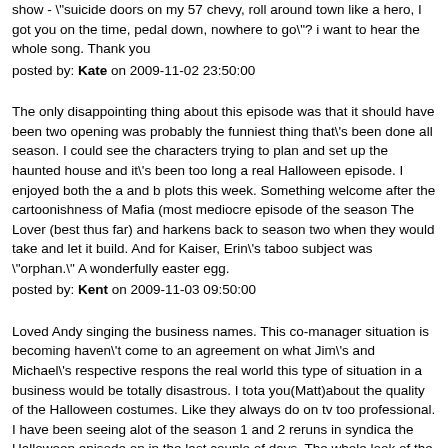show - "suicide doors on my 57 chevy, roll around town like a hero, I got you on the time, pedal down, nowhere to go"? i want to hear the whole song. Thank you
posted by: Kate on 2009-11-02 23:50:00
The only disappointing thing about this episode was that it should have been two opening was probably the funniest thing that's been done all season. I could see the characters trying to plan and set up the haunted house and it's been too long a real Halloween episode. I enjoyed both the a and b plots this week. Something welcome after the cartoonishness of Mafia (most mediocre episode of the season The Lover (best thus far) and harkens back to season two when they would take and let it build. And for Kaiser, Erin's taboo subject was "orphan." A wonderfully easter egg.
posted by: Kent on 2009-11-03 09:50:00
Loved Andy singing the business names. This co-manager situation is becoming haven't come to an agreement on what Jim's and Michael's respective respons the real world this type of situation in a business would be totally disastrous. I tot you(Matt)about the quality of the Halloween costumes. Like they always do on tv too professional. I have been seeing alot of the season 1 and 2 reruns in syndica the Halloween episode on in the last couple of days. The whole look of the show
posted by: Cindy on 2009-11-01 19:46:00
Good solid episode. Very good, big smiles all the way through. I loved Andy the w at the end was the exact opposite of what she has been, I loved it! I was disappo Halloween though.
posted by: theapplebook on 2009-11-01 21:52:00